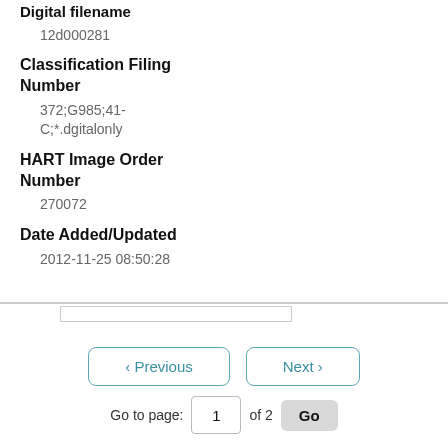Digital filename
12d000281
Classification Filing Number
372;G985;41-C;*.dgitalonly
HART Image Order Number
270072
Date Added/Updated
2012-11-25 08:50:28
< Previous   Next >
Go to page: 1 of 2 Go